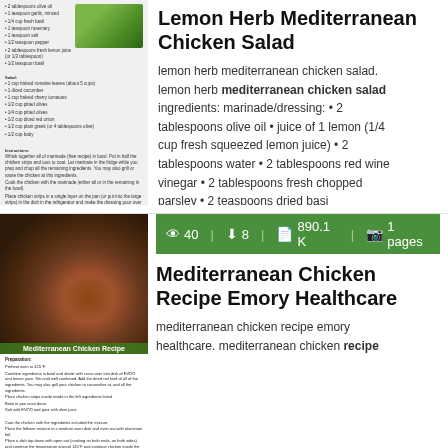[Figure (photo): Thumbnail of a recipe document page showing a Mediterranean chicken salad with bowl of colorful salad]
Lemon Herb Mediterranean Chicken Salad
lemon herb mediterranean chicken salad. lemon herb mediterranean chicken salad ingredients: marinade/dressing: • 2 tablespoons olive oil • juice of 1 lemon (1/4 cup fresh squeezed lemon juice) • 2 tablespoons water • 2 tablespoons red wine vinegar • 2 tablespoons fresh chopped parsley • 2 teaspoons dried basi
[Figure (photo): Thumbnail of a Mediterranean Chicken Recipe document showing a roasted chicken on a bed of greens with preparation instructions]
40 | 8 | 890.1 K | 1 pages
Mediterranean Chicken Recipe Emory Healthcare
mediterranean chicken recipe emory healthcare. mediterranean chicken recipe